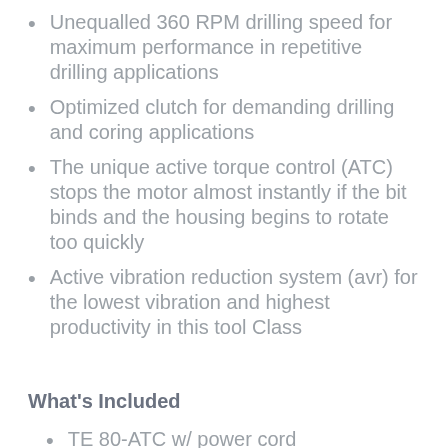Unequalled 360 RPM drilling speed for maximum performance in repetitive drilling applications
Optimized clutch for demanding drilling and coring applications
The unique active torque control (ATC) stops the motor almost instantly if the bit binds and the housing begins to rotate too quickly
Active vibration reduction system (avr) for the lowest vibration and highest productivity in this tool Class
What's Included
TE 80-ATC w/ power cord